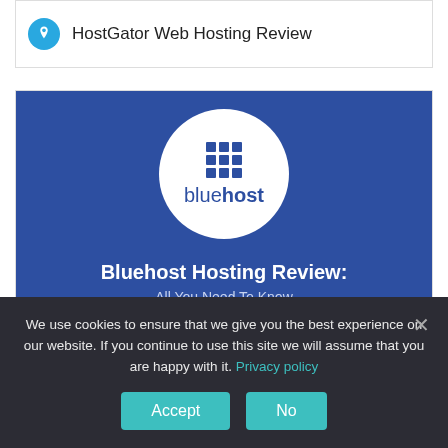[Figure (screenshot): HostGator pin card with blue circular pin icon and title text]
HostGator Web Hosting Review
[Figure (screenshot): Bluehost banner image with white circle logo, grid icon, bluehost wordmark, and bold heading text on blue background]
Bluehost Hosting Review: All You Need To Know
Bluehost Web Hosting review
We use cookies to ensure that we give you the best experience on our website. If you continue to use this site we will assume that you are happy with it. Privacy policy
Accept
No